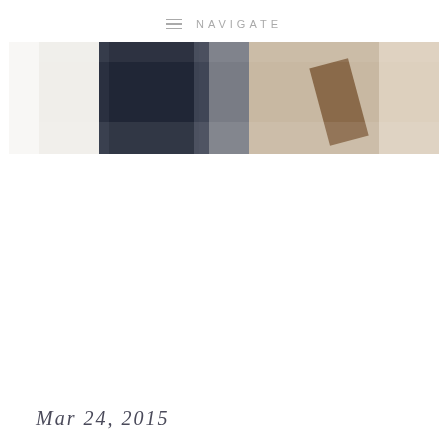NAVIGATE
[Figure (photo): A cropped horizontal hero image showing an interior scene with white walls, dark clothing or fabric, and warm beige/tan tones — appears to be a fashion or lifestyle blog header image.]
Mar 24, 2015